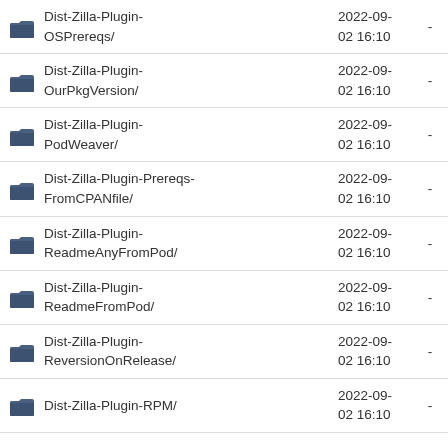Dist-Zilla-Plugin-OSPrereqs/	2022-09-02 16:10	-
Dist-Zilla-Plugin-OurPkgVersion/	2022-09-02 16:10	-
Dist-Zilla-Plugin-PodWeaver/	2022-09-02 16:10	-
Dist-Zilla-Plugin-Prereqs-FromCPANfile/	2022-09-02 16:10	-
Dist-Zilla-Plugin-ReadmeAnyFromPod/	2022-09-02 16:10	-
Dist-Zilla-Plugin-ReadmeFromPod/	2022-09-02 16:10	-
Dist-Zilla-Plugin-ReversionOnRelease/	2022-09-02 16:10	-
Dist-Zilla-Plugin-RPM/	2022-09-02 16:10	-